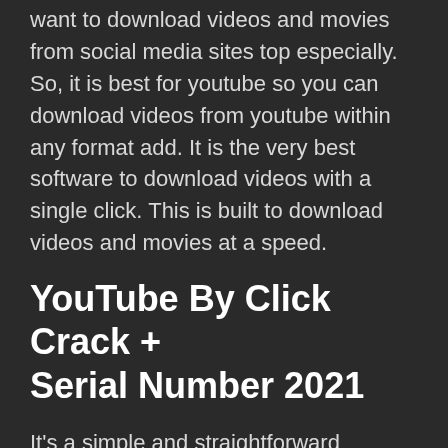want to download videos and movies from social media sites top especially. So, it is best for youtube so you can download videos from youtube within any format add. It is the very best software to download videos with a single click. This is built to download videos and movies at a speed.
YouTube By Click Crack + Serial Number 2021
It's a simple and straightforward program created. The simplest possible way to download video from YouTube has never been so easy. It is an application for video lovers. Download videos from YouTube, Dailymotion, Vimeo, Facebook, +40 high-definition. Also, it gives you MP3, MP4, AVI, and all other formats. As a result, Latest YouTube By Click Crack can certainly select and format the